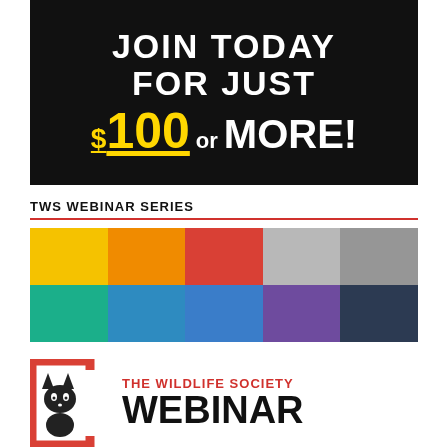[Figure (infographic): Black banner advertisement with white bold text 'JOIN TODAY FOR JUST' and gold/yellow '$100 OR MORE!' text with underline]
TWS WEBINAR SERIES
[Figure (illustration): Colorful grid of 10 squares in two rows: top row yellow, orange, red, light gray, dark gray; bottom row teal/green, blue, blue, purple, dark navy]
[Figure (logo): The Wildlife Society Webinar Series logo with red bracket frame containing a cat/fox icon, and text 'THE WILDLIFE SOCIETY WEBINAR' in red and black]